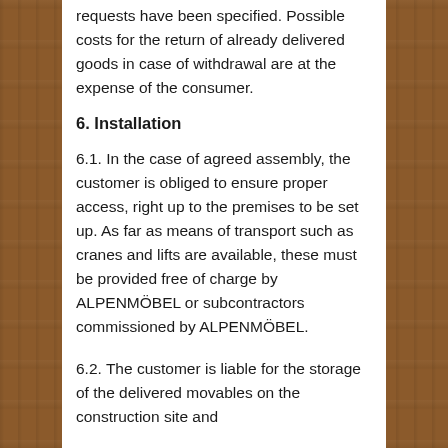requests have been specified. Possible costs for the return of already delivered goods in case of withdrawal are at the expense of the consumer.
6. Installation
6.1. In the case of agreed assembly, the customer is obliged to ensure proper access, right up to the premises to be set up. As far as means of transport such as cranes and lifts are available, these must be provided free of charge by ALPENMÖBEL or subcontractors commissioned by ALPENMÖBEL.
6.2. The customer is liable for the storage of the delivered movables on the construction site and